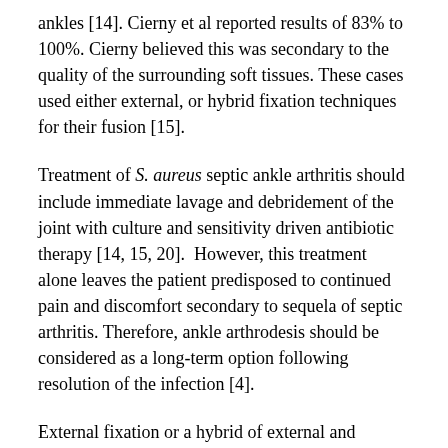ankles [14]. Cierny et al reported results of 83% to 100%. Cierny believed this was secondary to the quality of the surrounding soft tissues. These cases used either external, or hybrid fixation techniques for their fusion [15].
Treatment of S. aureus septic ankle arthritis should include immediate lavage and debridement of the joint with culture and sensitivity driven antibiotic therapy [14, 15, 20].  However, this treatment alone leaves the patient predisposed to continued pain and discomfort secondary to sequela of septic arthritis. Therefore, ankle arthrodesis should be considered as a long-term option following resolution of the infection [4].
External fixation or a hybrid of external and internal fixation has been recommended for